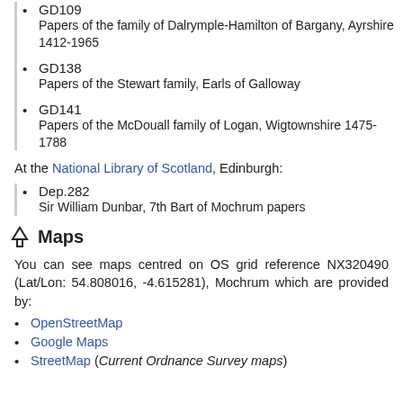GD109 Papers of the family of Dalrymple-Hamilton of Bargany, Ayrshire 1412-1965
GD138 Papers of the Stewart family, Earls of Galloway
GD141 Papers of the McDouall family of Logan, Wigtownshire 1475-1788
At the National Library of Scotland, Edinburgh:
Dep.282 Sir William Dunbar, 7th Bart of Mochrum papers
Maps
You can see maps centred on OS grid reference NX320490 (Lat/Lon: 54.808016, -4.615281), Mochrum which are provided by:
OpenStreetMap
Google Maps
StreetMap (Current Ordnance Survey maps)